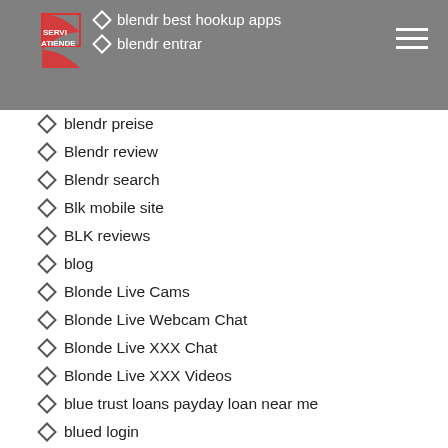blendr best hookup apps | blendr entrar
blendr preise
Blendr review
Blendr search
Blk mobile site
BLK reviews
blog
Blonde Live Cams
Blonde Live Webcam Chat
Blonde Live XXX Chat
Blonde Live XXX Videos
blue trust loans payday loan near me
blued login
Blued search
Bondage Live Web Cam Sex
Bondage Live Web Cams